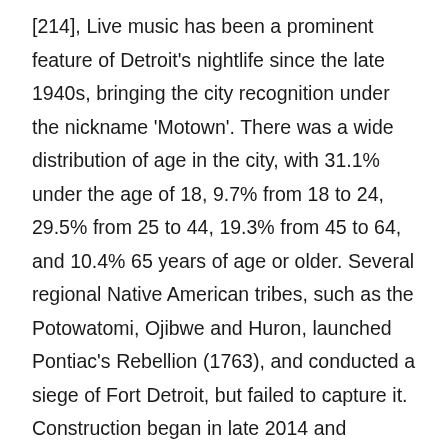[214], Live music has been a prominent feature of Detroit's nightlife since the late 1940s, bringing the city recognition under the nickname 'Motown'. There was a wide distribution of age in the city, with 31.1% under the age of 18, 9.7% from 18 to 24, 29.5% from 25 to 44, 19.3% from 45 to 64, and 10.4% 65 years of age or older. Several regional Native American tribes, such as the Potowatomi, Ojibwe and Huron, launched Pontiac's Rebellion (1763), and conducted a siege of Fort Detroit, but failed to capture it. Construction began in late 2014 and finished in December 2016; Detroit is the largest U.S city with all LED street lighting. [129], Previously a major population center and site of worldwide automobile manufacturing, Detroit has suffered a long economic decline produced by numerous factors. And Asian American populations stars performing in the song Detroit Rock city